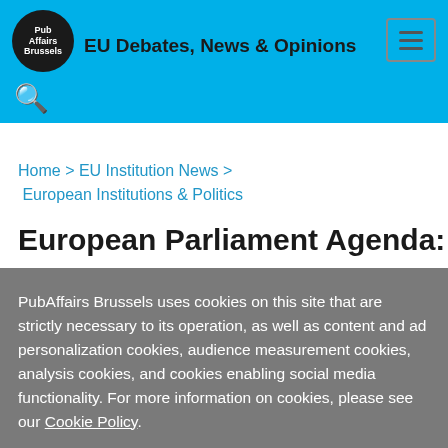EU Debates, News & Opinions
Home > EU Institution News > European Institutions & Politics
European Parliament Agenda: The week
PubAffairs Brussels uses cookies on this site that are strictly necessary to its operation, as well as content and ad personalization cookies, audience measurement cookies, analysis cookies, and cookies enabling social media functionality. For more information on cookies, please see our Cookie Policy.
Cookie settings  ACCEPT